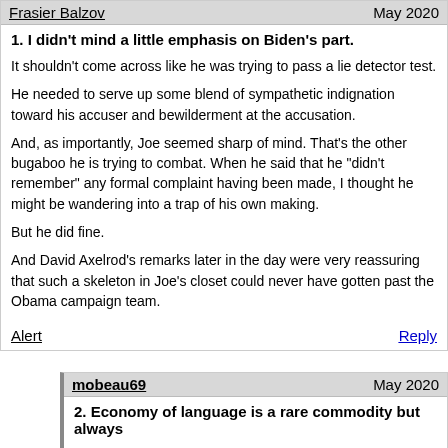Frasier Balzov — May 2020
1. I didn't mind a little emphasis on Biden's part.
It shouldn't come across like he was trying to pass a lie detector test.
He needed to serve up some blend of sympathetic indignation toward his accuser and bewilderment at the accusation.
And, as importantly, Joe seemed sharp of mind. That's the other bugaboo he is trying to combat. When he said that he "didn't remember" any formal complaint having been made, I thought he might be wandering into a trap of his own making.
But he did fine.
And David Axelrod's remarks later in the day were very reassuring that such a skeleton in Joe's closet could never have gotten past the Obama campaign team.
Alert — Reply
mobeau69 — May 2020
2. Economy of language is a rare commodity but always
refreshing. Lincoln was the master of this skill. He knew how to make his points with as few words as possible.
Alert — Reply